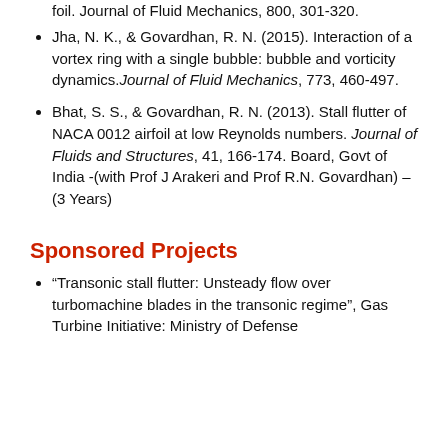Jha, N. K., & Govardhan, R. N. (2015). Interaction of a vortex ring with a single bubble: bubble and vorticity dynamics. Journal of Fluid Mechanics, 773, 460-497.
Bhat, S. S., & Govardhan, R. N. (2013). Stall flutter of NACA 0012 airfoil at low Reynolds numbers. Journal of Fluids and Structures, 41, 166-174. Board, Govt of India -(with Prof J Arakeri and Prof R.N. Govardhan) – (3 Years)
Sponsored Projects
“Transonic stall flutter: Unsteady flow over turbomachine blades in the transonic regime”, Gas Turbine Initiative: Ministry of Defense